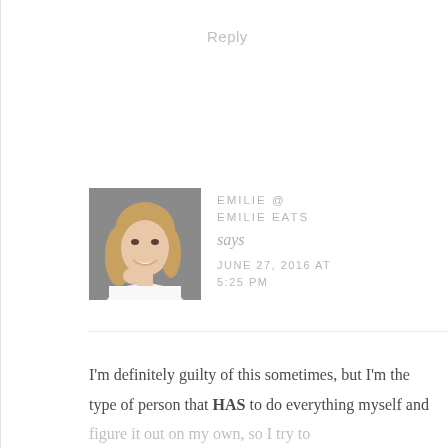Reply
[Figure (photo): Profile photo of a smiling young woman with long blonde hair, hand resting near her chin, wearing a white top, against a grey background.]
EMILIE @ EMILIE EATS says JUNE 27, 2016 AT 5:25 PM
I'm definitely guilty of this sometimes, but I'm the type of person that HAS to do everything myself and figure it out on my own, so I try to only ask for help if I'm seriously